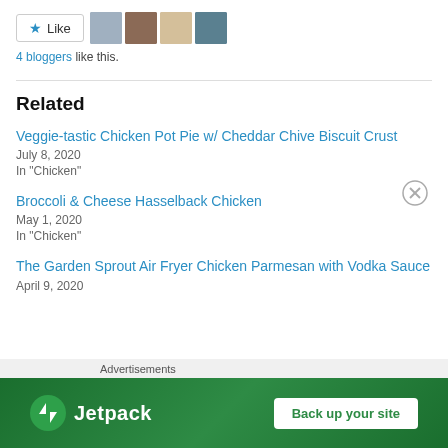[Figure (other): Like button with star icon and 4 blogger avatar thumbnails]
4 bloggers like this.
Related
Veggie-tastic Chicken Pot Pie w/ Cheddar Chive Biscuit Crust
July 8, 2020
In "Chicken"
Broccoli & Cheese Hasselback Chicken
May 1, 2020
In "Chicken"
The Garden Sprout Air Fryer Chicken Parmesan with Vodka Sauce
April 9, 2020
[Figure (other): Jetpack advertisement banner with logo and Back up your site button]